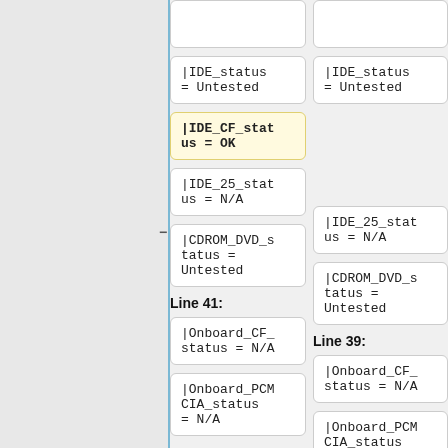|IDE_status = Untested
|IDE_status = Untested
|IDE_CF_status = OK
|IDE_25_status = N/A
|IDE_25_status = N/A
|CDROM_DVD_status = Untested
|CDROM_DVD_status = Untested
Line 41:
Line 39:
|Onboard_CF_status = N/A
|Onboard_CF_status = N/A
|Onboard_PCMCIA_status = N/A
|Onboard_PCMCIA_status = N/A